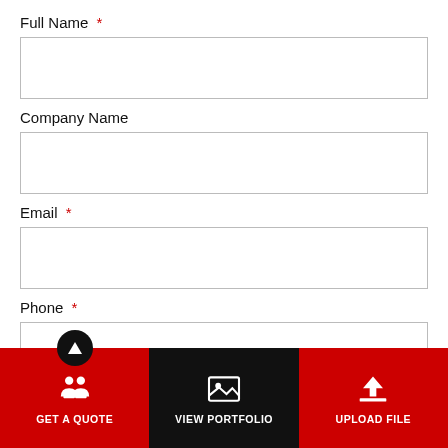Full Name *
Company Name
Email *
Phone *
[Figure (screenshot): Bottom navigation bar with three sections: 'GET A QUOTE' (red, with up arrow button and people icon), 'VIEW PORTFOLIO' (black, with image/landscape icon), and 'UPLOAD FILE' (red, with upload icon)]